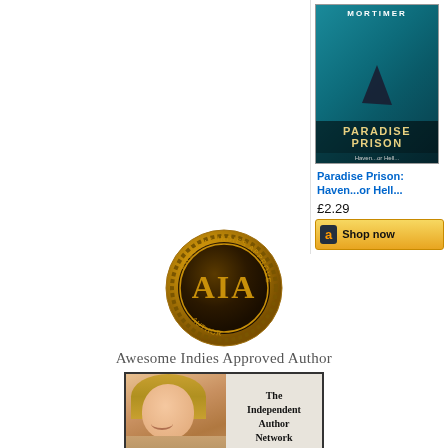[Figure (illustration): Book cover for 'Paradise Prison: Haven...or Hell...' by Mortimer with a teal ocean scene and shark fin, showing price £2.29 and Amazon Shop now button]
Paradise Prison: Haven...or Hell...
£2.29
[Figure (logo): Awesome Indies Approved Author gold badge/medallion with AIA letters]
Awesome Indies Approved Author
[Figure (photo): The Independent Author Network - photo of smiling woman with blonde hair next to text logo]